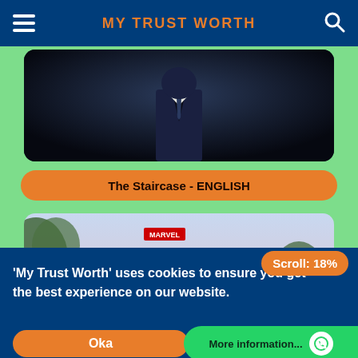MY TRUST WORTH
[Figure (photo): Dark image showing a man in a suit from neck down, dark moody background]
The Staircase - ENGLISH
[Figure (photo): Marvel Runaways TV show promotional image with logo, palm trees, and a girl]
Scroll: 18%
'My Trust Worth' uses cookies to ensure you get the best experience on our website.
Okay
More information...